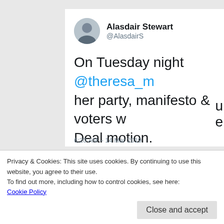[Figure (screenshot): Tweet screenshot from Alasdair Stewart (@AlasdairS) dated 6:20 AM - 14 Mar 2019, showing tweet text about Tuesday night and Wednesday chaos, partially visible with cookie consent banner overlay]
Privacy & Cookies: This site uses cookies. By continuing to use this website, you agree to their use.
To find out more, including how to control cookies, see here:
Cookie Policy
Close and accept